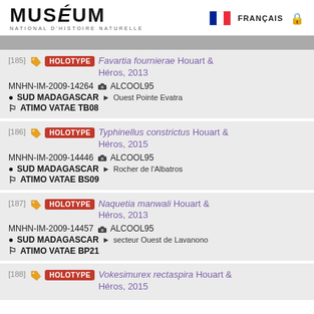MUSÉUM NATIONAL D'HISTOIRE NATURELLE — FRANÇAIS
[185] HOLOTYPE Favartia fournierae Houart & Héros, 2013 — MNHN-IM-2009-14264 ALCOOL95 — SUD MADAGASCAR > Ouest Pointe Evatra — ATIMO VATAE TB08
[186] HOLOTYPE Typhinellus constrictus Houart & Héros, 2015 — MNHN-IM-2009-14446 ALCOOL95 — SUD MADAGASCAR > Rocher de l'Albatros — ATIMO VATAE BS09
[187] HOLOTYPE Naquetia manwali Houart & Héros, 2013 — MNHN-IM-2009-14457 ALCOOL95 — SUD MADAGASCAR > secteur Ouest de Lavanono — ATIMO VATAE BP21
[188] HOLOTYPE Vokesimurex rectaspira Houart & Héros, 2015